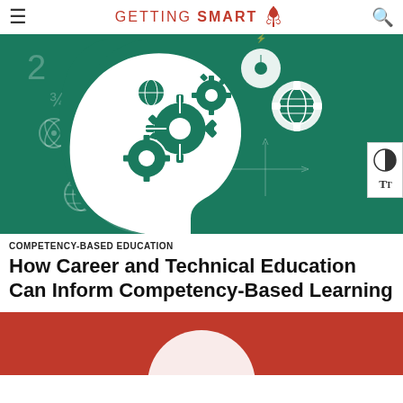GETTING SMART
[Figure (illustration): Green illustration of a human head silhouette in profile filled with gears, globes, math symbols, science icons, and educational imagery on a dark green background. A small accessibility panel is visible on the right edge with a contrast toggle and text resize buttons.]
COMPETENCY-BASED EDUCATION
How Career and Technical Education Can Inform Competency-Based Learning
[Figure (illustration): Partial view of a red background illustration, beginning of another article image.]